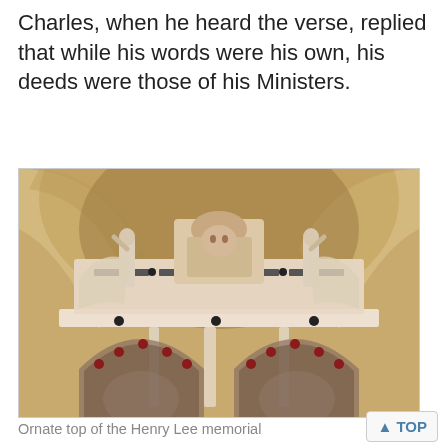Charles, when he heard the verse, replied that while his words were his own, his deeds were those of his Ministers.
[Figure (photo): Ornate top of the Henry Lee memorial — a white marble monument with decorative carved figures flanking a central coat of arms or heraldic panel, set within a stone Gothic arch. Below the pediment are decorative friezes and two arched niches with red bead decoration.]
Ornate top of the Henry Lee memorial